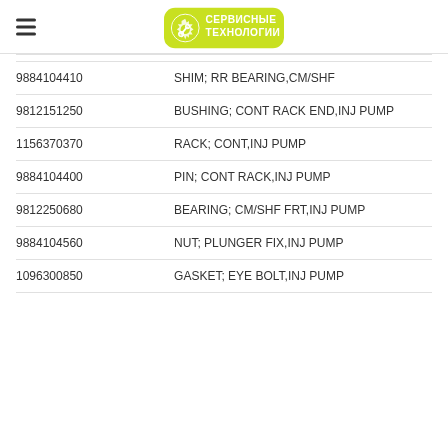СЕРВИСНЫЕ ТЕХНОЛОГИИ
| Part Number | Description |
| --- | --- |
| 9884104410 | SHIM; RR BEARING,CM/SHF |
| 9812151250 | BUSHING; CONT RACK END,INJ PUMP |
| 1156370370 | RACK; CONT,INJ PUMP |
| 9884104400 | PIN; CONT RACK,INJ PUMP |
| 9812250680 | BEARING; CM/SHF FRT,INJ PUMP |
| 9884104560 | NUT; PLUNGER FIX,INJ PUMP |
| 1096300850 | GASKET; EYE BOLT,INJ PUMP |